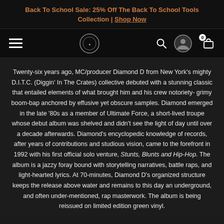Back To School Sale: 25% Off The Back To School Tools Collection | Shop Now
[Figure (logo): Navigation bar with hamburger menu, circular logo, search icon, user account icon, and shopping cart icon with 0 items]
Twenty-six years ago, MC/producer Diamond D from New York's mighty D.I.T.C. (Diggin' In The Crates) collective debuted with a stunning classic that entailed elements of what brought him and his crew notoriety- grimy boom-bap anchored by effusive yet obscure samples. Diamond emerged in the late '80s as a member of Ultimate Force, a short-lived troupe whose debut album was shelved and didn't see the light of day until over a decade afterwards. Diamond's encyclopedic knowledge of records, after years of contributions and studious vision, came to the forefront in 1992 with his first official solo venture, Stunts, Blunts and Hip-Hop. The album is a jazzy foray bound with storytelling narratives, battle raps, and light-hearted lyrics. At 70-minutes, Diamond D's organized structure keeps the release above water and remains to this day an underground, and often under-mentioned, rap masterwork. The album is being reissued on limited edition green vinyl.